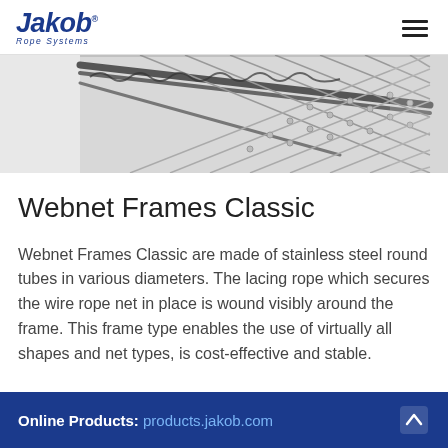Jakob Rope Systems
[Figure (photo): Close-up photograph of a stainless steel wire rope net with a metal frame tube and lacing rope visible, set against a light grey background.]
Webnet Frames Classic
Webnet Frames Classic are made of stainless steel round tubes in various diameters. The lacing rope which secures the wire rope net in place is wound visibly around the frame. This frame type enables the use of virtually all shapes and net types, is cost-effective and stable.
Online Products: products.jakob.com